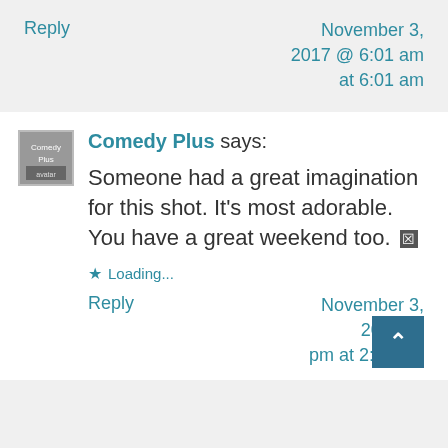Reply
November 3, 2017 @ 6:01 am at 6:01 am
[Figure (photo): Small avatar/profile image for Comedy Plus commenter]
Comedy Plus says:
Someone had a great imagination for this shot. It's most adorable. You have a great weekend too. [emoji]
Loading...
Reply
November 3, 2017 @ pm at 2:44 pm